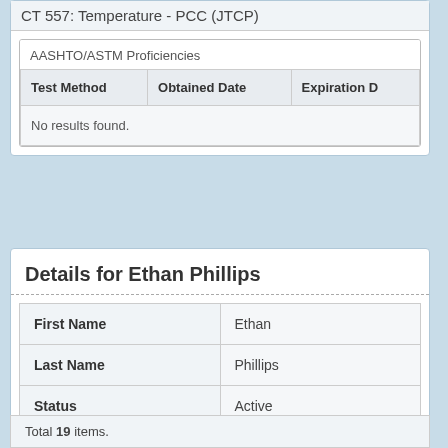CT 557: Temperature - PCC (JTCP)
AASHTO/ASTM Proficiencies
| Test Method | Obtained Date | Expiration D |
| --- | --- | --- |
| No results found. |  |  |
Details for Ethan Phillips
| Field | Value |
| --- | --- |
| First Name | Ethan |
| Last Name | Phillips |
| Status | Active |
Total 19 items.